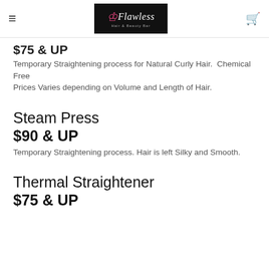Flawless Hair & Beauty Bar
$75 & UP
Temporary Straightening process for Natural Curly Hair.  Chemical Free
Prices Varies depending on Volume and Length of Hair.
Steam Press
$90 & UP
Temporary Straightening process. Hair is left Silky and Smooth.
Thermal Straightener
$75 & UP